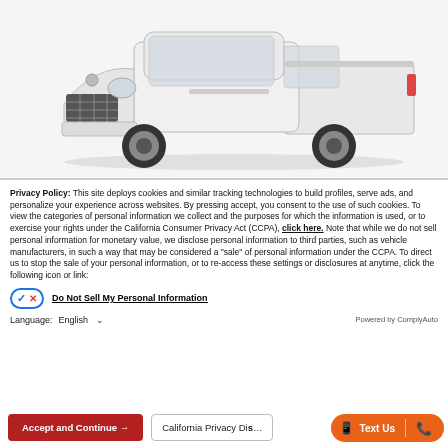[Figure (photo): White Nissan Frontier pickup truck shown from a front-left 3/4 angle on a light gray background]
Privacy Policy: This site deploys cookies and similar tracking technologies to build profiles, serve ads, and personalize your experience across websites. By pressing accept, you consent to the use of such cookies. To view the categories of personal information we collect and the purposes for which the information is used, or to exercise your rights under the California Consumer Privacy Act (CCPA), click here. Note that while we do not sell personal information for monetary value, we disclose personal information to third parties, such as vehicle manufacturers, in such a way that may be considered a "sale" of personal information under the CCPA. To direct us to stop the sale of your personal information, or to re-access these settings or disclosures at anytime, click the following icon or link:
Do Not Sell My Personal Information
Language: English
Powered by ComplyAuto
Accept and Continue →
California Privacy Dis…
Text Us